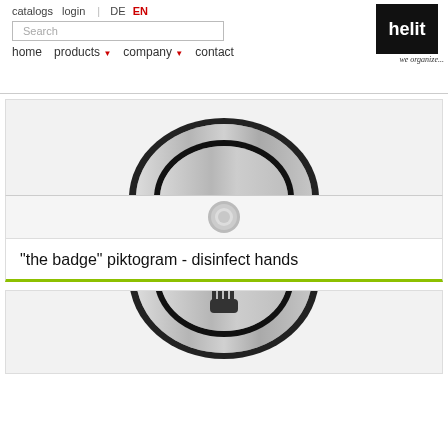catalogs  login  |  DE  EN
[Figure (logo): helit logo - black square with white 'helit' text, tagline 'we organize...']
[Figure (other): Search input box]
home  products  company  contact
[Figure (photo): Partial top view of a metallic silver badge/disc with black ring border]
[Figure (photo): Small circular grey button/thumbnail]
"the badge" piktogram - disinfect hands
[Figure (photo): Bottom partial view of second metallic silver badge/disc with black ring border]